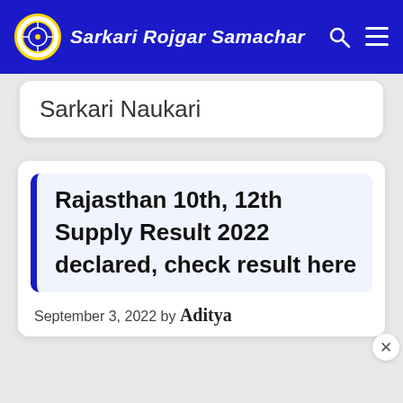Sarkari Rojgar Samachar
Sarkari Naukari
Rajasthan 10th, 12th Supply Result 2022 declared, check result here
September 3, 2022 by Aditya